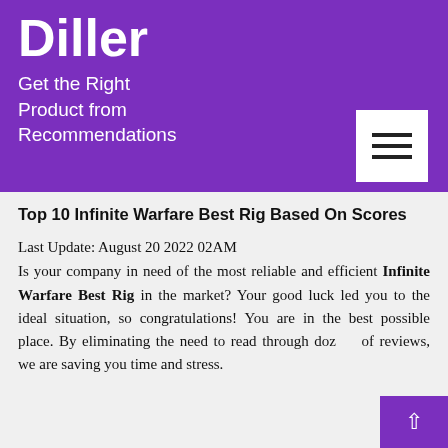Diller
Get the Right Product from Recommendations
Top 10 Infinite Warfare Best Rig Based On Scores
Last Update: August 20 2022 02AM
Is your company in need of the most reliable and efficient Infinite Warfare Best Rig in the market? Your good luck led you to the ideal situation, so congratulations! You are in the best possible place. By eliminating the need to read through dozens of reviews, we are saving you time and stress.